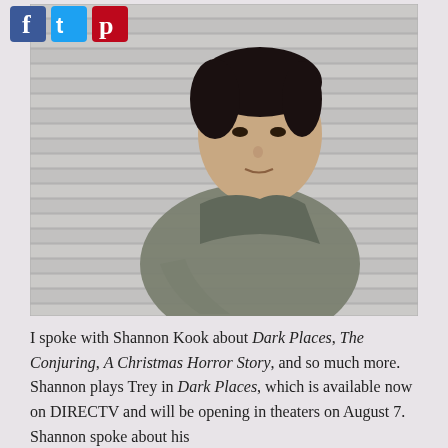[Figure (logo): Social media icons: Facebook (blue f), Twitter (blue bird), Pinterest (red P)]
[Figure (photo): A young Asian man with short dark hair wearing a grey jacket, leaning against a metal shutter/garage door backdrop, looking at the camera with a serious expression.]
I spoke with Shannon Kook about Dark Places, The Conjuring, A Christmas Horror Story, and so much more. Shannon plays Trey in Dark Places, which is available now on DIRECTV and will be opening in theaters on August 7. Shannon spoke about his